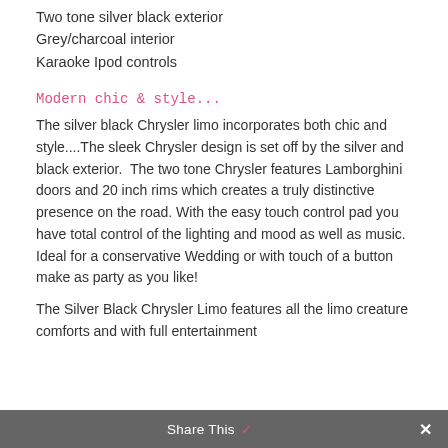Two tone silver black exterior
Grey/charcoal interior
Karaoke Ipod controls
Modern chic & style...
The silver black Chrysler limo incorporates both chic and style....The sleek Chrysler design is set off by the silver and black exterior.  The two tone Chrysler features Lamborghini doors and 20 inch rims which creates a truly distinctive presence on the road. With the easy touch control pad you have total control of the lighting and mood as well as music. Ideal for a conservative Wedding or with touch of a button make as party as you like!
The Silver Black Chrysler Limo features all the limo creature comforts and with full entertainment
Share This ✓ ✕